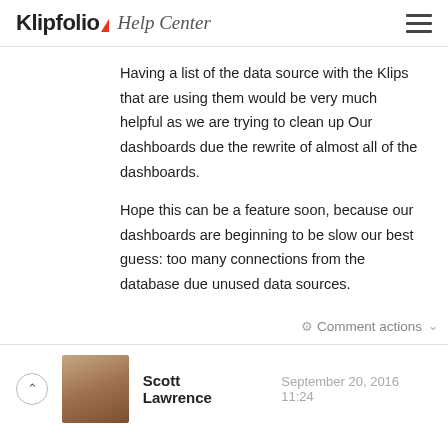Klipfolio Help Center
Having a list of the data source with the Klips that are using them would be very much helpful as we are trying to clean up Our dashboards due the rewrite of almost all of the dashboards.
Hope this can be a feature soon, because our dashboards are beginning to be slow our best guess: too many connections from the database due unused data sources.
Comment actions
Scott Lawrence   September 20, 2016 11:24